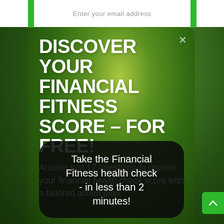Enter your email address
DISCOVER YOUR FINANCIAL FITNESS SCORE – FOR FREE!
Answer just 17 questions to receive your financial health check score with a tailored action plan.
Take the Financial Fitness health check - in less than 2 minutes!